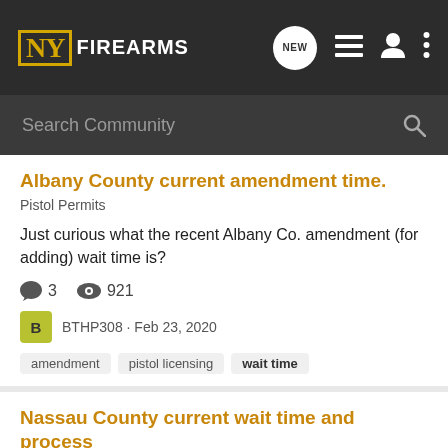NY FIREARMS
Search Community
Albany County current amendment time.
Pistol Permits
Just curious what the recent Albany Co. amendment (for adding) wait time is?
3 comments · 921 views
BTHP308 · Feb 23, 2020
amendment
pistol licensing
wait time
Nassau County current wait time and process
Pistol Permits
I submitted my application last week (2/27/18) in Mineola and was given a fingerprint date for March 28th 2018. Does anyone know the current wait time in Nassau county? Also